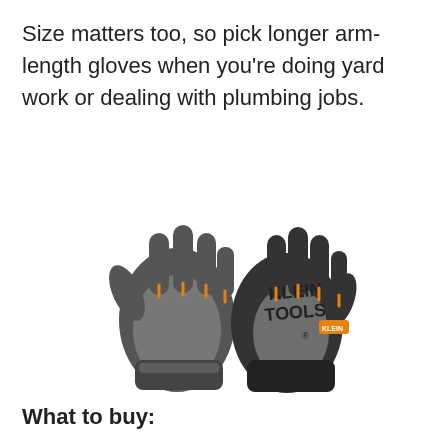Size matters too, so pick longer arm-length gloves when you're doing yard work or dealing with plumbing jobs.
[Figure (photo): Two Klein Tools work gloves shown front and back view. Black and grey with orange stitching on fingers and Klein Tools branding on the back.]
What to buy: